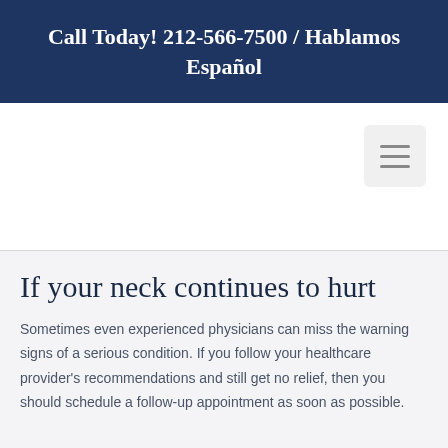Call Today! 212-566-7500 / Hablamos Español
[Figure (other): Navigation bar with hamburger menu icon (three horizontal lines) on the right side]
If your neck continues to hurt
Sometimes even experienced physicians can miss the warning signs of a serious condition. If you follow your healthcare provider's recommendations and still get no relief, then you should schedule a follow-up appointment as soon as possible.